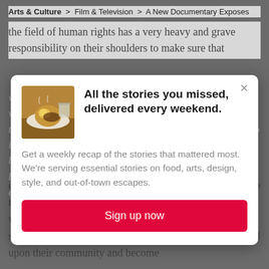Arts & Culture > Film & Television > A New Documentary Exposes
the field of human rights has a very heavy and grave responsibility on their shoulders to make sure that whatever they are documenting through their lens and whatever they are doing is done with a level of veracity that they can corroborate. Whatever is going on today, we need to illuminate forms of discrimination and to hold people, firms, businesses, and governments accountable for it, so it becomes impossible. So if young girls and young women are empowered with education and have critical thinking skills, this will enable them to understand what human rights are, to understand what their own social rights are, and to be able to then start to frame things within their own community–to build upon their community and become
[Figure (screenshot): Modal popup newsletter signup with food image, headline 'All the stories you missed, delivered every weekend.', body text about weekly recap, and red 'Sign up now' button]
All the stories you missed, delivered every weekend.
Get a weekly recap of the stories that mattered most. We're serving essential stories on food, arts, design, style, and out-of-town escapes.
Sign up now